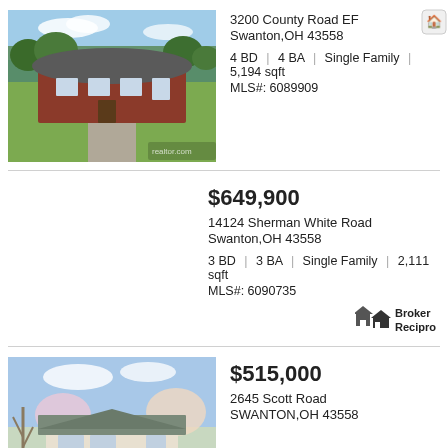[Figure (photo): Photo of a brick ranch home at 3200 County Road EF with large green lawn and trees in background]
3200 County Road EF
Swanton,OH 43558
4 BD | 4 BA | Single Family | 5,194 sqft
MLS#: 6089909
$649,900
14124 Sherman White Road
Swanton,OH 43558
3 BD | 3 BA | Single Family | 2,111 sqft
MLS#: 6090735
[Figure (logo): Broker Reciprocity logo with house icon]
[Figure (photo): Photo of a white ranch home at 2645 Scott Road with flowering trees]
$515,000
2645 Scott Road
SWANTON,OH 43558